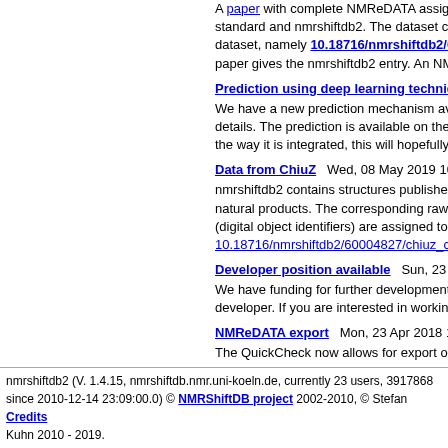A paper with complete NMReDATA assignments standard and nmrshiftdb2. The dataset can be found in the NMReShift dataset, namely 10.18716/nmrshiftdb2/6000... paper gives the nmrshiftdb2 entry. An NMReDA...
Prediction using deep learning techniques
We have a new prediction mechanism available details. The prediction is available on the Predi... the way it is integrated, this will hopefully be in...
Data from ChiuZ    Wed, 08 May 2019 10:09:53 -00
nmrshiftdb2 contains structures published in the natural products. The corresponding raw data as... (digital object identifiers) are assigned to these 10.18716/nmrshiftdb2/60004827/chiuz_c...
Developer position available    Sun, 23 Dec 2018
We have funding for further development of nm... developer. If you are interested in working in ar...
NMReDATA export    Mon, 23 Apr 2018 11:56:55 -
The QuickCheck now allows for export of the a... part of, strives for establishing the format as a n...
[Figure (other): XML button - orange rectangular button with white XML text]
nmrshiftdb2 (V. 1.4.15, nmrshiftdb.nmr.uni-koeln.de, currently 23 users, 3917868 since 2010-12-14 23:09:00.0) © NMRShiftDB project 2002-2010, © Stefan Kuhn 2010 - 2019. Credits